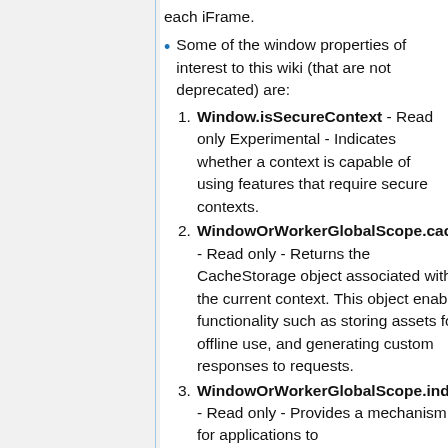each iFrame.
Some of the window properties of interest to this wiki (that are not deprecated) are:
1. Window.isSecureContext - Read only Experimental - Indicates whether a context is capable of using features that require secure contexts.
2. WindowOrWorkerGlobalScope.cache - Read only - Returns the CacheStorage object associated with the current context. This object enables functionality such as storing assets for offline use, and generating custom responses to requests.
3. WindowOrWorkerGlobalScope.index - Read only - Provides a mechanism for applications to